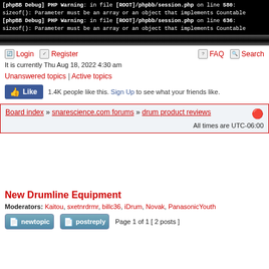[phpBB Debug] PHP Warning: in file [ROOT]/phpbb/session.php on line 580: sizeof(): Parameter must be an array or an object that implements Countable
[phpBB Debug] PHP Warning: in file [ROOT]/phpbb/session.php on line 636: sizeof(): Parameter must be an array or an object that implements Countable
[Figure (other): Dark gradient bar separator]
Login | Register | FAQ | Search
It is currently Thu Aug 18, 2022 4:30 am
Unanswered topics | Active topics
1.4K people like this. Sign Up to see what your friends like.
Board index » snarescience.com forums » drum product reviews
All times are UTC-06:00
New Drumline Equipment
Moderators: Kaitou, sxetnrdrmr, billc36, iDrum, Novak, PanasonicYouth
Page 1 of 1 [ 2 posts ]